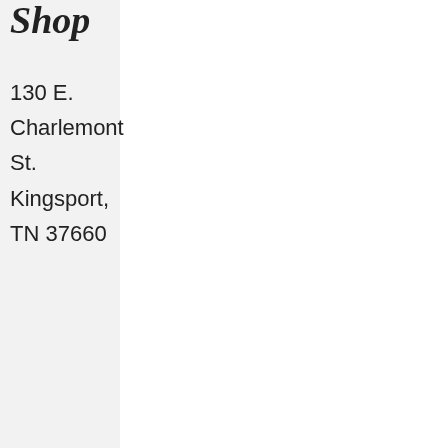Shop
130 E. Charlemont St. Kingsport, TN 37660
(423) 246-4177
Sign Up For Special Offers!
Email
Enter E-Mail Address
GO
Downtown Flowers And Gift Shop
130 E. Charlemont St.
Kingsport, TN  37660
(423) 246-4177
[Figure (logo): Instagram logo/icon partial]